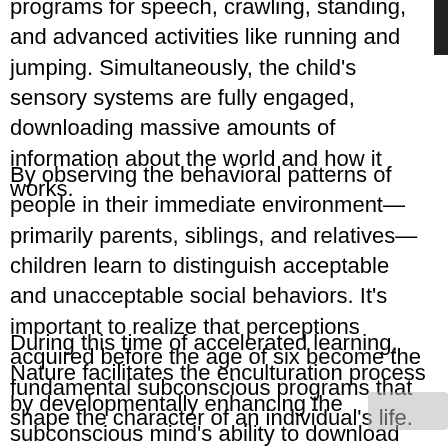programs for speech, crawling, standing, and advanced activities like running and jumping. Simultaneously, the child's sensory systems are fully engaged, downloading massive amounts of information about the world and how it works.
By observing the behavioral patterns of people in their immediate environment—primarily parents, siblings, and relatives—children learn to distinguish acceptable and unacceptable social behaviors. It's important to realize that perceptions acquired before the age of six become the fundamental subconscious programs that shape the character of an individual's life.
During this time of accelerated learning, Nature facilitates the enculturation process by developmentally enhancing the subconscious mind's ability to download massive amounts of information. We know this thanks to our study of brainwaves in adults and children.